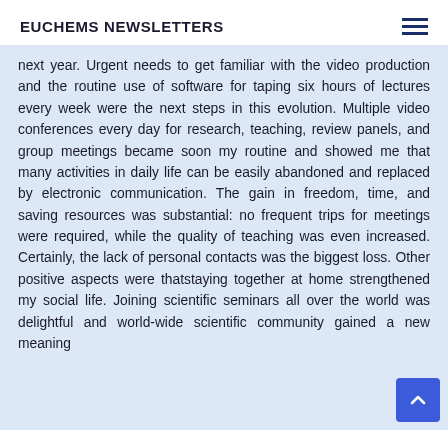EUCHEMS NEWSLETTERS
next year. Urgent needs to get familiar with the video production and the routine use of software for taping six hours of lectures every week were the next steps in this evolution. Multiple video conferences every day for research, teaching, review panels, and group meetings became soon my routine and showed me that many activities in daily life can be easily abandoned and replaced by electronic communication. The gain in freedom, time, and saving resources was substantial: no frequent trips for meetings were required, while the quality of teaching was even increased. Certainly, the lack of personal contacts was the biggest loss. Other positive aspects were thatstaying together at home strengthened my social life. Joining scientific seminars all over the world was delightful and world-wide scientific community gained a new meaning